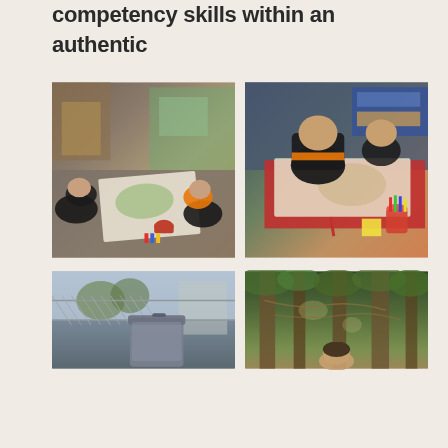competency skills within an authentic context.
[Figure (photo): Two children sitting on a carpeted classroom floor, drawing on a large piece of white paper with crayons. Art supplies and colorful materials visible in the background.]
[Figure (photo): Two children standing at a red table in a classroom, working on a large drawing or map spread across the table, with a cup of colorful crayons nearby.]
[Figure (photo): A playground area with a chain-link fence, a large grey wheelie bin visible, trees and buildings in the background.]
[Figure (photo): A child visible at the bottom of the frame in a forested area with tall trees, rope elements or hammock visible.]